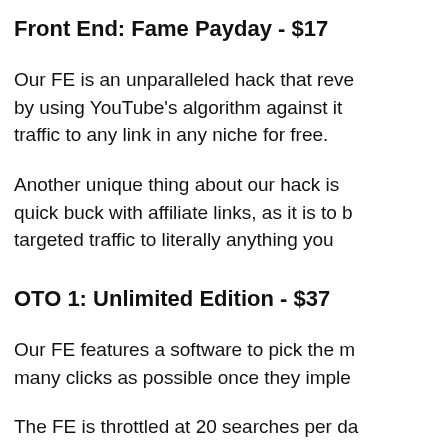Front End: Fame Payday - $17
Our FE is an unparalleled hack that reve… by using YouTube's algorithm against it… traffic to any link in any niche for free.
Another unique thing about our hack is… quick buck with affiliate links, as it is to b… targeted traffic to literally anything you…
OTO 1: Unlimited Edition - $37
Our FE features a software to pick the m… many clicks as possible once they imple…
The FE is throttled at 20 searches per da…